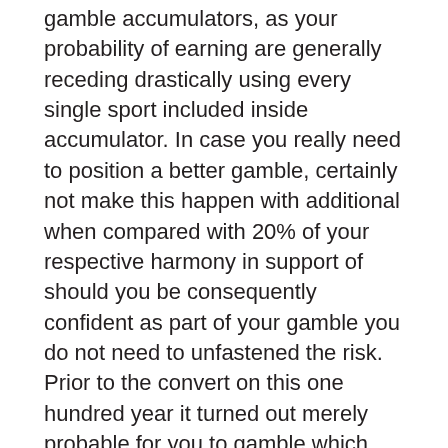gamble accumulators, as your probability of earning are generally receding drastically using every single sport included inside accumulator. In case you really need to position a better gamble, certainly not make this happen with additional when compared with 20% of your respective harmony in support of should you be consequently confident as part of your gamble you do not need to unfastened the risk. Prior to the convert on this one hundred year it turned out merely probable for you to gamble which has a bookmaker as well as in study course over the Totalisator (Tote) technique. On the other hand, while using kick off in the on-line bets swaps including Betfair along with Betdaq that every improved.
Your Swaps granted punters for you to guess versus the other along with absolutely lower out and about the